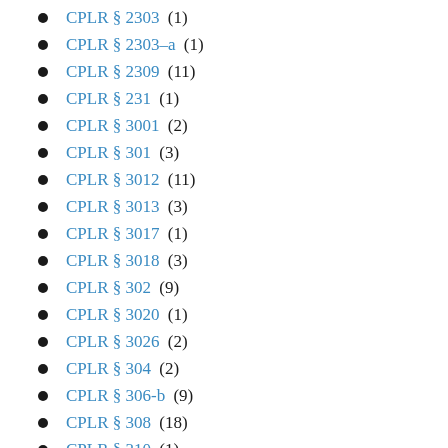CPLR § 2303 (1)
CPLR § 2303-a (1)
CPLR § 2309 (11)
CPLR § 231 (1)
CPLR § 3001 (2)
CPLR § 301 (3)
CPLR § 3012 (11)
CPLR § 3013 (3)
CPLR § 3017 (1)
CPLR § 3018 (3)
CPLR § 302 (9)
CPLR § 3020 (1)
CPLR § 3026 (2)
CPLR § 304 (2)
CPLR § 306-b (9)
CPLR § 308 (18)
CPLR § 310 (1)